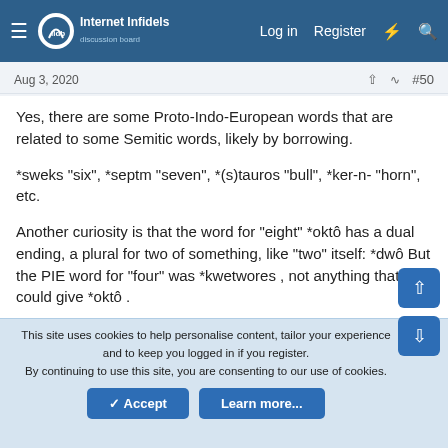Internet Infidels discussion board — Log in Register
Aug 3, 2020  #50
Yes, there are some Proto-Indo-European words that are related to some Semitic words, likely by borrowing.
*sweks "six", *septm "seven", *(s)tauros "bull", *ker-n- "horn", etc.
Another curiosity is that the word for "eight" *oktô has a dual ending, a plural for two of something, like "two" itself: *dwô But the PIE word for "four" was *kwetwores , not anything that could give *oktô .
Bjørn-2017-Foreign-elements-in-the-Proto-Indo-European-vocabulary.pdf
This site uses cookies to help personalise content, tailor your experience and to keep you logged in if you register.
By continuing to use this site, you are consenting to our use of cookies.